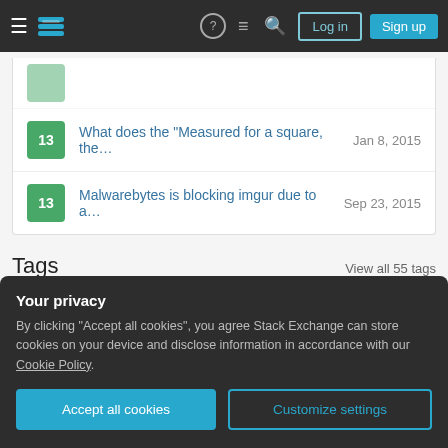Stack Exchange navigation bar with Log in and Sign up buttons
13 — What does the "Measured for a square, the... — Jan 8, 2015
13 — Malwarebytes is blocking imgur due to a... — Sep 23, 2015
Tags
View all 55 tags
discussion   374 score   14 posts
Your privacy
By clicking "Accept all cookies", you agree Stack Exchange can store cookies on your device and disclose information in accordance with our Cookie Policy.
Accept all cookies   Customize settings